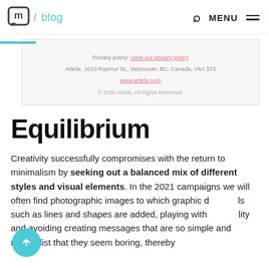m / blog  MENU
[Figure (screenshot): Screenshot of a website footer/form card showing: Privacy policy: View our privacy policy | Article, 1010 Raymur St., Vancouver, BC, Canada, V6A 3T2 | www.article.com | © 2020 Article. All Rights Reserved.]
Equilibrium
Creativity successfully compromises with the return to minimalism by seeking out a balanced mix of different styles and visual elements. In the 2021 campaigns we will often find photographic images to which graphic details such as lines and shapes are added, playing with quality and avoiding creating messages that are so simple and minimalist that they seem boring, thereby